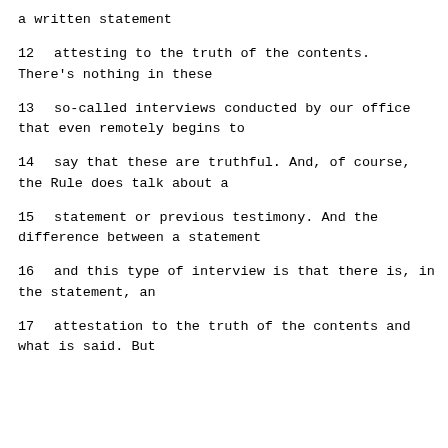a written statement
12     attesting to the truth of the contents. There's nothing in these
13     so-called interviews conducted by our office that even remotely begins to
14     say that these are truthful.  And, of course, the Rule does talk about a
15     statement or previous testimony.  And the difference between a statement
16     and this type of interview is that there is, in the statement, an
17     attestation to the truth of the contents and what is said.  But